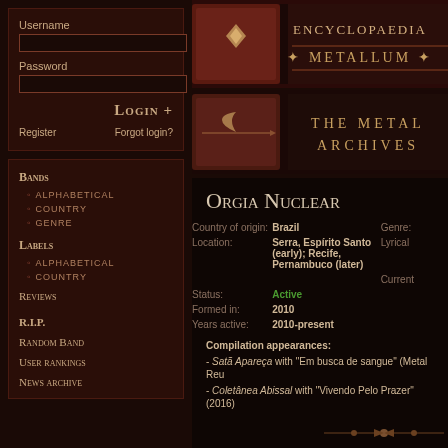Username
Password
Login +
Register   Forgot login?
Bands
Alphabetical
Country
Genre
Labels
Alphabetical
Country
Reviews
R.I.P.
Random Band
User rankings
News archive
[Figure (logo): Encyclopaedia Metallum: The Metal Archives banner logo with ornate book design on dark red background]
Orgia Nuclear
| Field | Value |
| --- | --- |
| Country of origin: | Brazil |
| Location: | Serra, Espírito Santo (early); Recife, Pernambuco (later) |
| Status: | Active |
| Formed in: | 2010 |
| Years active: | 2010-present |
Compilation appearances:
- Satã Apareça with "Em busca de sangue" (Metal Reu...
- Coletânea Abissal with "Vivendo Pelo Prazer" (2016)